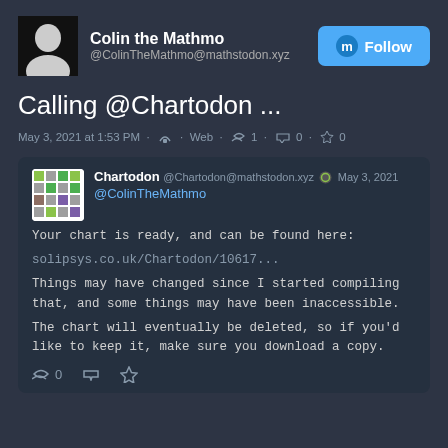[Figure (screenshot): Mastodon social media post screenshot from Colin the Mathmo (@ColinTheMathmo@mathstodon.xyz) with a Follow button, posting 'Calling @Chartodon ...' on May 3, 2021 at 1:53 PM, with a reply from Chartodon (@Chartodon@mathstodon.xyz) saying 'Your chart is ready, and can be found here: solipsys.co.uk/Chartodon/10617... Things may have changed since I started compiling that, and some things may have been inaccessible. The chart will eventually be deleted, so if you'd like to keep it, make sure you download a copy.']